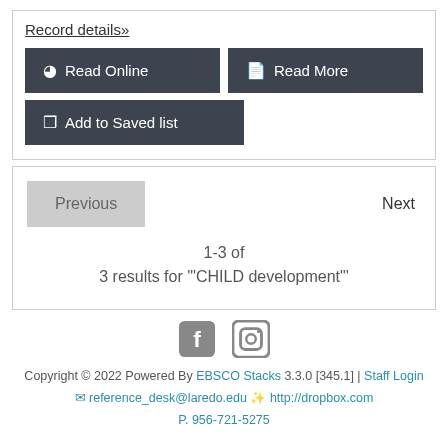Record details»
Read Online
Read More
Add to Saved list
Previous
Next
1-3 of
3 results for '"CHILD development"'
[Figure (illustration): Facebook and Instagram social media icons in gray]
Copyright © 2022 Powered By EBSCO Stacks 3.3.0 [345.1] | Staff Login
✉ reference_desk@laredo.edu 🎒 http://dropbox.com
P. 956-721-5275